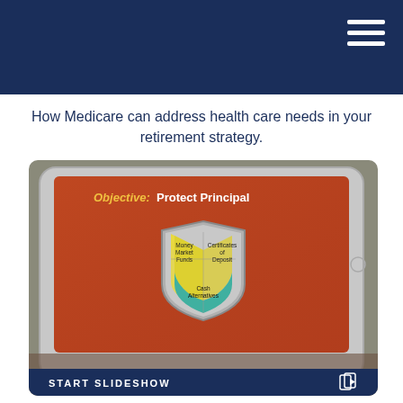How Medicare can address health care needs in your retirement strategy.
[Figure (photo): A photo of hands holding a tablet displaying a financial slideshow slide titled 'Objective: Protect Principal' with a shield graphic containing sections labeled Money Market Funds, Certificates of Deposit, and Cash Alternatives. Below the image is a dark blue bar reading START SLIDESHOW.]